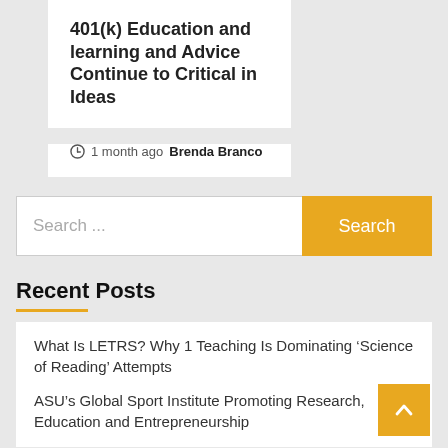401(k) Education and learning and Advice Continue to Critical in Ideas
1 month ago  Brenda Branco
Search ...
Recent Posts
What Is LETRS? Why 1 Teaching Is Dominating ‘Science of Reading’ Attempts
ASU’s Global Sport Institute Promoting Research, Education and Entrepreneurship